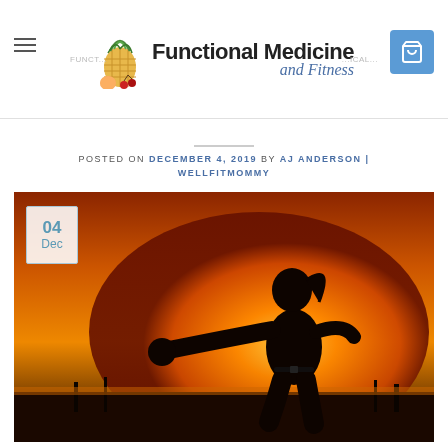Functional Medicine and Fitness
POSTED ON DECEMBER 4, 2019 BY AJ ANDERSON | WELLFITMOMMY
[Figure (photo): Silhouette of a woman in martial arts pose throwing a punch against a dramatic orange and amber sunset sky background. A small white date badge in the upper-left corner shows '04 Dec'.]